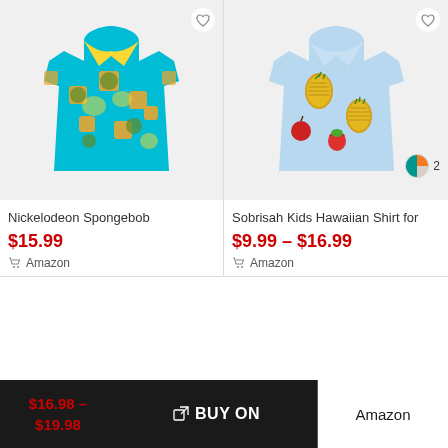[Figure (photo): Nickelodeon Spongebob Hawaiian shirt, colorful teal/yellow/orange pattern]
[Figure (photo): Sobrisah Kids Hawaiian Shirt, light blue with pineapple and fruit pattern, 2 color options shown]
Nickelodeon Spongebob
$15.99
Amazon
Sobrisah Kids Hawaiian Shirt for
$9.99 – $16.99
Amazon
$16.98 – $19.98
BUY ON
Amazon